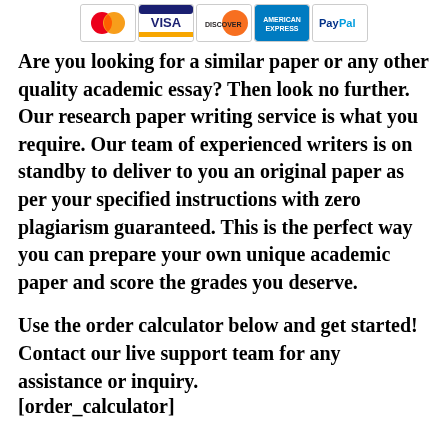[Figure (other): Payment method logos: MasterCard, VISA, Discover, American Express, PayPal]
Are you looking for a similar paper or any other quality academic essay? Then look no further. Our research paper writing service is what you require. Our team of experienced writers is on standby to deliver to you an original paper as per your specified instructions with zero plagiarism guaranteed. This is the perfect way you can prepare your own unique academic paper and score the grades you deserve.
Use the order calculator below and get started! Contact our live support team for any assistance or inquiry.
[order_calculator]